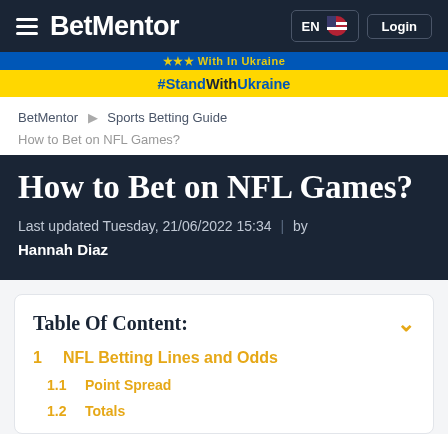BetMentor  EN  Login
#StandWithUkraine
BetMentor  Sports Betting Guide  How to Bet on NFL Games?
How to Bet on NFL Games?
Last updated Tuesday, 21/06/2022 15:34 | by Hannah Diaz
Table Of Content:
1  NFL Betting Lines and Odds
1.1  Point Spread
1.2  Totals